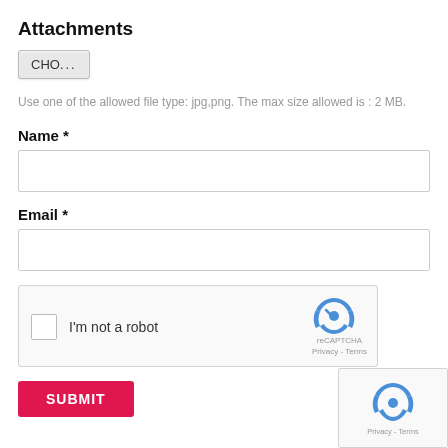Attachments
[Figure (screenshot): A 'CHO...' button for choosing file attachments]
Use one of the allowed file type: jpg,png. The max size allowed is : 2 MB.
Name *
[Figure (screenshot): Text input field for Name]
Email *
[Figure (screenshot): Text input field for Email]
[Figure (screenshot): reCAPTCHA widget with checkbox 'I'm not a robot', reCAPTCHA logo, Privacy and Terms links]
[Figure (screenshot): SUBMIT button in red/pink]
[Figure (screenshot): reCAPTCHA badge/logo in bottom right corner with Privacy - Terms text]